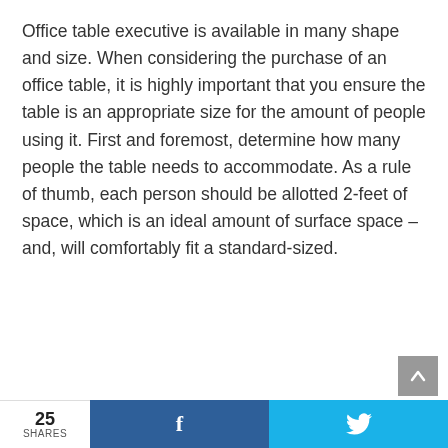Office table executive is available in many shape and size. When considering the purchase of an office table, it is highly important that you ensure the table is an appropriate size for the amount of people using it. First and foremost, determine how many people the table needs to accommodate. As a rule of thumb, each person should be allotted 2-feet of space, which is an ideal amount of surface space – and, will comfortably fit a standard-sized.
25 SHARES  f  🐦